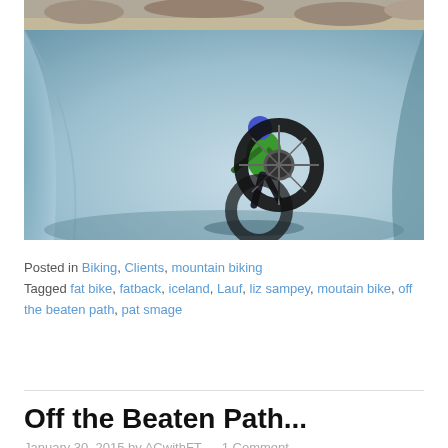[Figure (photo): A cyclist in a green jacket and blue helmet performing a wheelie or trick inside a blue-tinted curved concrete tunnel or pipe structure, with rocky terrain visible at the top of the image.]
Posted in Biking, Clients, mountain biking
Tagged fat bike, fatback, iceland, Lauf, liz sampey, moutain bike, off the beaten path, pat smage
Off the Beaten Path...
January 30, 2015 by ACwithFT — 1 Comment